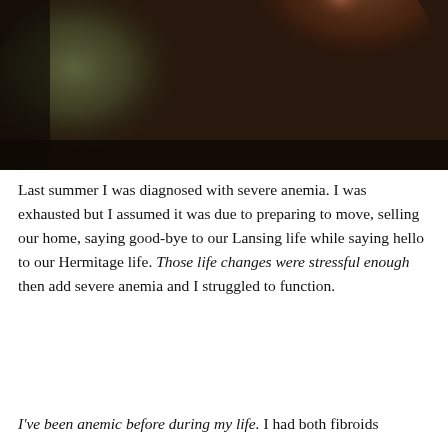[Figure (photo): Close-up photograph of a dark textured surface with a greenish-tinted highlight on the left and warm reddish-brown tones on the right, resembling leather or skin texture under moody lighting.]
Last summer I was diagnosed with severe anemia. I was exhausted but I assumed it was due to preparing to move, selling our home, saying good-bye to our Lansing life while saying hello to our Hermitage life. Those life changes were stressful enough then add severe anemia and I struggled to function.
I've been anemic before during my life. I had both fibroids